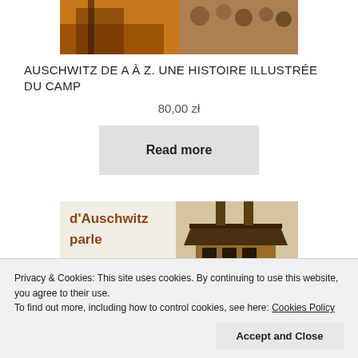[Figure (photo): Top portion of a book cover for 'Auschwitz de A à Z', showing warm toned building and historical photographs of people]
AUSCHWITZ DE A À Z. UNE HISTOIRE ILLUSTRÉE DU CAMP
80,00 zł
Read more
[Figure (photo): Bottom book cover showing text 'd'Auschwitz parle' in brown text on light background, with an image of a watchtower building on the right]
Privacy & Cookies: This site uses cookies. By continuing to use this website, you agree to their use. To find out more, including how to control cookies, see here: Cookies Policy
Accept and Close